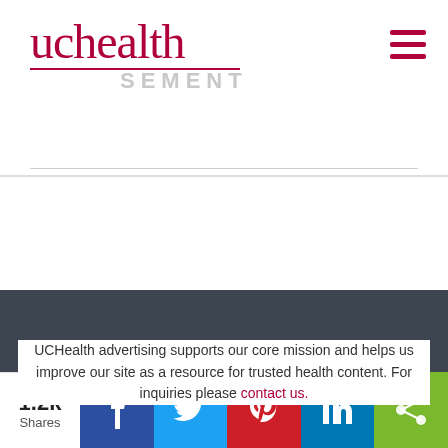uchealth
UCHealth advertising supports our core mission and helps us improve our site as a resource for trusted health content. For inquiries please contact us.
We use cookies to make interactions with our website easy and meaningful. By continuing to use this site you are giving us your consent. Learn how cookies are used on our site.
Accept terms
1.2k Shares